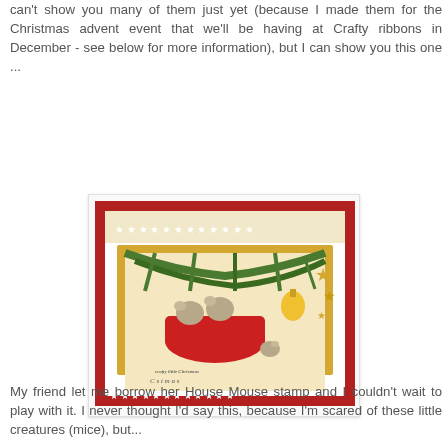can't show you many of them just yet (because I made them for the Christmas advent event that we'll be having at Crafty ribbons in December - see below for more information), but I can show you this one ...
[Figure (photo): A handmade Christmas card featuring House Mouse stamp artwork. The card shows mice nestled in a red Christmas stocking beneath pine branches with a gold ornament. The card has decorative star-patterned borders and gold star embellishments. Text reads 'crafty little Christmas' at the bottom. The card is displayed on a red background.]
My friend let me borrow her House Mouse stamp and I couldn't wait to play with it. I never thought I'd say this, because I'm scared of these little creatures (mice), but...